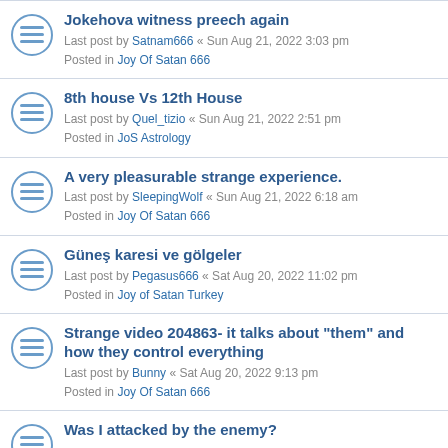Jokehova witness preech again
Last post by Satnam666 « Sun Aug 21, 2022 3:03 pm
Posted in Joy Of Satan 666
8th house Vs 12th House
Last post by Quel_tizio « Sun Aug 21, 2022 2:51 pm
Posted in JoS Astrology
A very pleasurable strange experience.
Last post by SleepingWolf « Sun Aug 21, 2022 6:18 am
Posted in Joy Of Satan 666
Güneş karesi ve gölgeler
Last post by Pegasus666 « Sat Aug 20, 2022 11:02 pm
Posted in Joy of Satan Turkey
Strange video 204863- it talks about "them" and how they control everything
Last post by Bunny « Sat Aug 20, 2022 9:13 pm
Posted in Joy Of Satan 666
Was I attacked by the enemy?